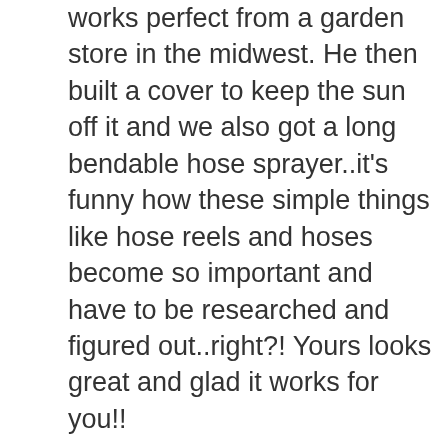works perfect from a garden store in the midwest. He then built a cover to keep the sun off it and we also got a long bendable hose sprayer..it's funny how these simple things like hose reels and hoses become so important and have to be researched and figured out..right?! Yours looks great and glad it works for you!!
Re
This site uses cookies. By continuing to use this website, you agree to their use. Learn more
Got it!
[Figure (photo): Small circular avatar photo of a woman with brown hair and headband]
July 31, 2019 at 4:10 pm